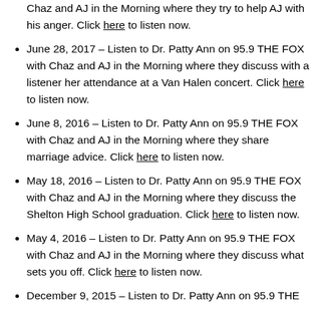(continuation) Chaz and AJ in the Morning where they try to help AJ with his anger. Click here to listen now.
June 28, 2017 – Listen to Dr. Patty Ann on 95.9 THE FOX with Chaz and AJ in the Morning where they discuss with a listener her attendance at a Van Halen concert. Click here to listen now.
June 8, 2016 – Listen to Dr. Patty Ann on 95.9 THE FOX with Chaz and AJ in the Morning where they share marriage advice. Click here to listen now.
May 18, 2016 – Listen to Dr. Patty Ann on 95.9 THE FOX with Chaz and AJ in the Morning where they discuss the Shelton High School graduation. Click here to listen now.
May 4, 2016 – Listen to Dr. Patty Ann on 95.9 THE FOX with Chaz and AJ in the Morning where they discuss what sets you off. Click here to listen now.
December 9, 2015 – Listen to Dr. Patty Ann on 95.9 THE (continues)